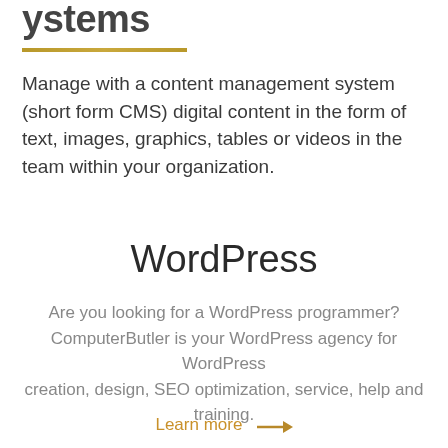Systems
Manage with a content management system (short form CMS) digital content in the form of text, images, graphics, tables or videos in the team within your organization.
WordPress
Are you looking for a WordPress programmer? ComputerButler is your WordPress agency for WordPress creation, design, SEO optimization, service, help and training.
Learn more →